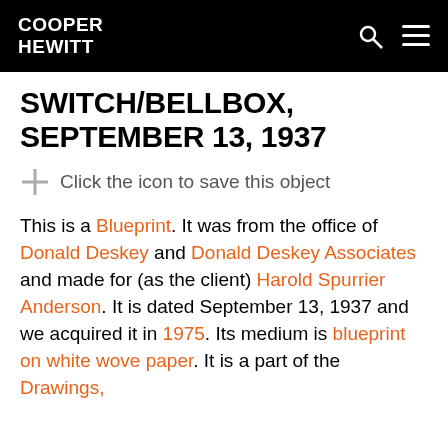COOPER HEWITT
SWITCH/BELLBOX, SEPTEMBER 13, 1937
Click the icon to save this object
This is a Blueprint. It was from the office of Donald Deskey and Donald Deskey Associates and made for (as the client) Harold Spurrier Anderson. It is dated September 13, 1937 and we acquired it in 1975. Its medium is blueprint on white wove paper. It is a part of the Drawings,